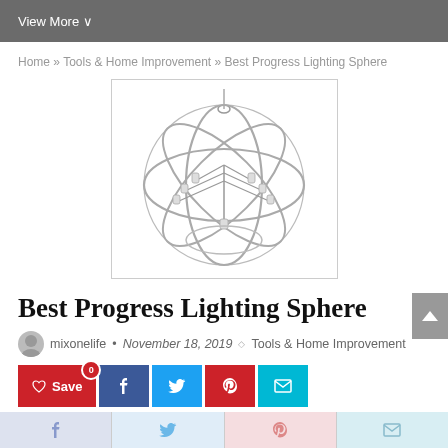View More ∨
Home » Tools & Home Improvement » Best Progress Lighting Sphere
[Figure (illustration): A spherical chandelier with metal rings and candelabra-style bulbs, shown in a white product photo with light border]
Best Progress Lighting Sphere
mixonelife • November 18, 2019 ◇ Tools & Home Improvement
♡ Save  [Facebook share]  [Twitter share]  [Pinterest share]  [Email share]